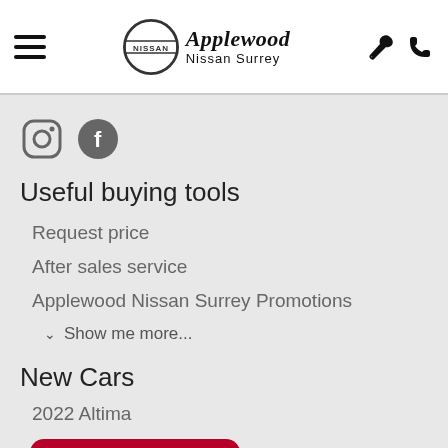Applewood Nissan Surrey
[Figure (logo): Applewood Nissan Surrey logo with Nissan circle emblem and script text]
[Figure (logo): Instagram and Facebook social media icons]
Useful buying tools
Request price
After sales service
Applewood Nissan Surrey Promotions
Show me more...
New Cars
2022 Altima
[Figure (infographic): Red button with circular refresh icon: VALUE YOUR TRADE!]
Show me more...